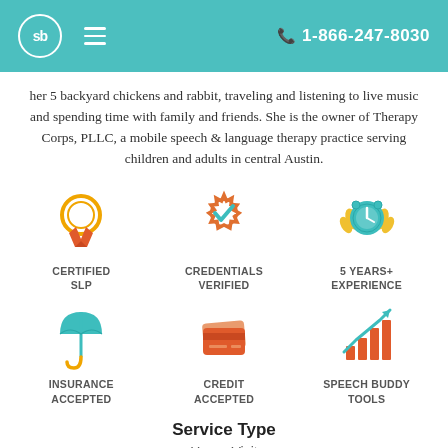sb  1-866-247-8030
her 5 backyard chickens and rabbit, traveling and listening to live music and spending time with family and friends. She is the owner of Therapy Corps, PLLC, a mobile speech & language therapy practice serving children and adults in central Austin.
[Figure (infographic): Six badge icons: Certified SLP (orange ribbon/award), Credentials Verified (orange sunburst with teal checkmark), 5 Years+ Experience (teal alarm clock with gold laurels), Insurance Accepted (teal umbrella with gold handle), Credit Accepted (orange credit cards), Speech Buddy Tools (orange/teal bar chart with arrow)]
Service Type
Home Visit